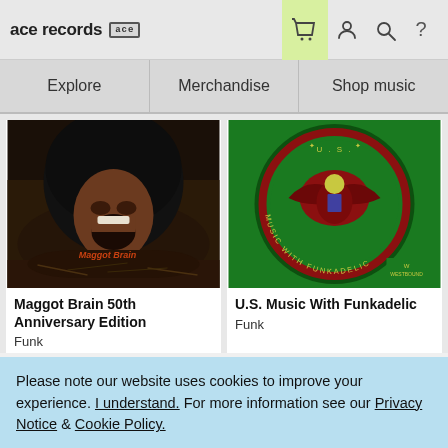ace records [logo] — navigation icons: basket, person, search, help
Explore | Merchandise | Shop music
[Figure (photo): Album cover for Maggot Brain 50th Anniversary Edition — person screaming emerging from dirt with afro hair, text 'Maggot Brain' in orange]
Maggot Brain 50th Anniversary Edition
Funk
[Figure (photo): Album cover for U.S. Music With Funkadelic — green background with American eagle seal emblem in red/green, text around circular border]
U.S. Music With Funkadelic
Funk
Please note our website uses cookies to improve your experience. I understand. For more information see our Privacy Notice & Cookie Policy.